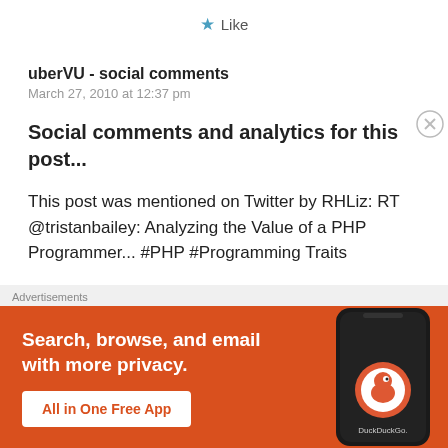[Figure (other): Star icon with Like label in blue/teal color]
uberVU - social comments
March 27, 2010 at 12:37 pm
Social comments and analytics for this post...
This post was mentioned on Twitter by RHLiz: RT @tristanbailey: Analyzing the Value of a PHP Programmer... #PHP #Programming Traits
Advertisements
[Figure (other): DuckDuckGo advertisement banner: Search, browse, and email with more privacy. All in One Free App, with phone image showing DuckDuckGo app]